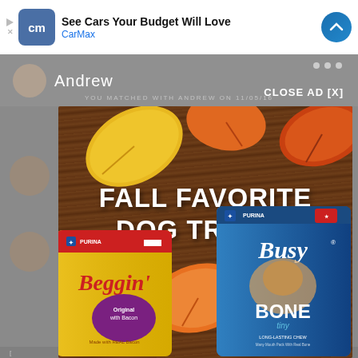[Figure (screenshot): Mobile app screenshot showing a dating app interface with a CarMax advertisement banner at the top reading 'See Cars Your Budget Will Love / CarMax', and a Purina dog treats overlay ad on a wood-textured background with autumn leaves reading 'FALL FAVORITE DOG TREATS' with Purina Beggin' and Purina Busy Bone Tiny product packages. A 'CLOSE AD [X]' button is visible.]
See Cars Your Budget Will Love
CarMax
Andrew
YOU MATCHED WITH ANDREW ON 11/05/16
CLOSE AD [X]
FALL FAVORITE DOG TREATS